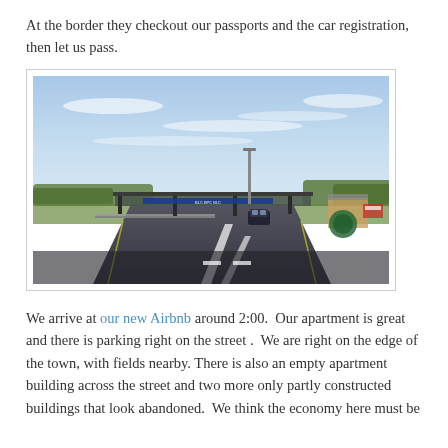At the border they checkout our passports and the car registration, then let us pass.
[Figure (photo): Road approaching a border checkpoint with a canopy structure spanning the road. A car is visible ahead, and a tall light pole stands near the checkpoint. Signs are visible on the canopy. Trees and a partly cloudy blue sky are in the background.]
We arrive at our new Airbnb around 2:00.  Our apartment is great and there is parking right on the street .  We are right on the edge of the town, with fields nearby. There is also an empty apartment building across the street and two more only partly constructed buildings that look abandoned.  We think the economy here must be